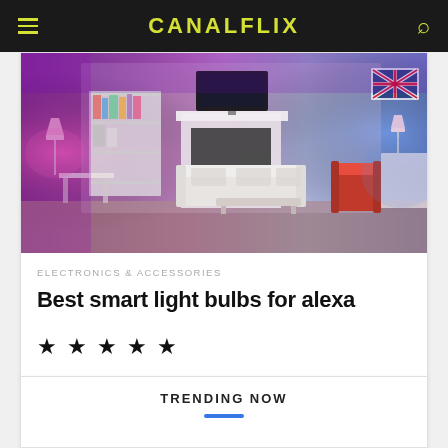CANALFLIX
[Figure (photo): Living room lit with colorful smart bulbs — purple and pink hues, white sofa, fireplace, red chair, bookshelf, TV on wall, Union Jack artwork.]
ELECTRONICS & ACCESSORIES
Best smart light bulbs for alexa
★ ★ ★ ★ ★
TRENDING NOW